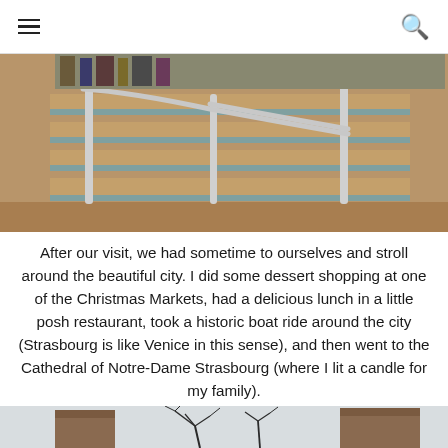☰ 🔍
[Figure (photo): Interior staircase with metal handrails and wooden steps, viewed from the side in a public building]
After our visit, we had sometime to ourselves and stroll around the beautiful city. I did some dessert shopping at one of the Christmas Markets, had a delicious lunch in a little posh restaurant, took a historic boat ride around the city (Strasbourg is like Venice in this sense), and then went to the Cathedral of Notre-Dame Strasbourg (where I lit a candle for my family).
[Figure (photo): Outdoor street scene with bare tree branches against a light sky, buildings visible in background]